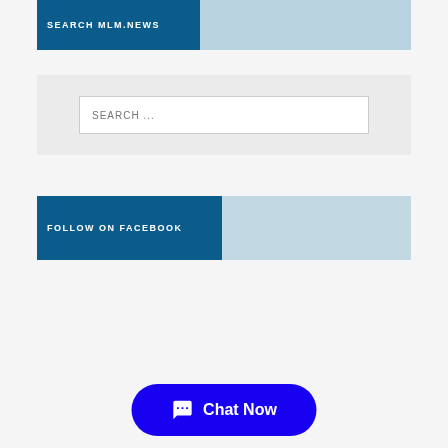SEARCH MLM.NEWS
SEARCH ...
FOLLOW ON FACEBOOK
Chat Now